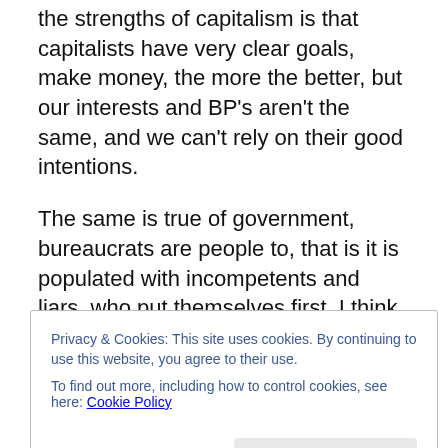the strengths of capitalism is that capitalists have very clear goals, make money, the more the better, but our interests and BP's aren't the same, and we can't rely on their good intentions.
The same is true of government, bureaucrats are people to, that is it is populated with incompetents and liars, who put themselves first. I think the best you can hope for is the government and private capitalism check each other's worst excesses.
Liberals have too much faith in government as a tool to
Privacy & Cookies: This site uses cookies. By continuing to use this website, you agree to their use.
To find out more, including how to control cookies, see here: Cookie Policy
government and unfettered private activity is an